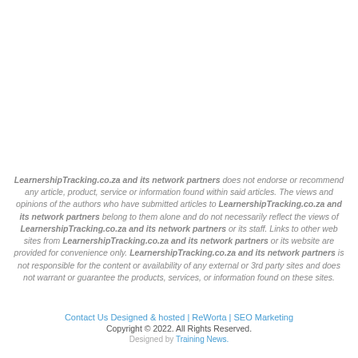LearnershipTracking.co.za and its network partners does not endorse or recommend any article, product, service or information found within said articles. The views and opinions of the authors who have submitted articles to LearnershipTracking.co.za and its network partners belong to them alone and do not necessarily reflect the views of LearnershipTracking.co.za and its network partners or its staff. Links to other web sites from LearnershipTracking.co.za and its network partners or its website are provided for convenience only. LearnershipTracking.co.za and its network partners is not responsible for the content or availability of any external or 3rd party sites and does not warrant or guarantee the products, services, or information found on these sites.
Contact Us Designed & hosted | ReWorta | SEO Marketing
Copyright © 2022. All Rights Reserved.
Designed by Training News.